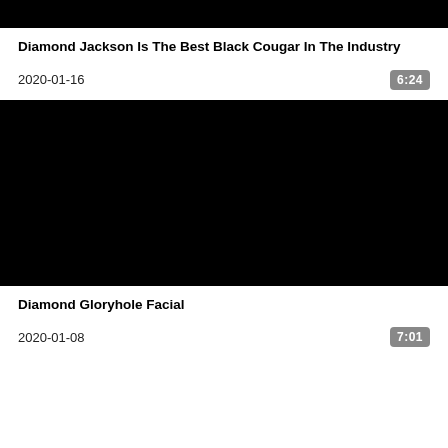[Figure (photo): Black video thumbnail at top of page]
Diamond Jackson Is The Best Black Cougar In The Industry
2020-01-16   6:24
[Figure (photo): Black video thumbnail in center of page]
Diamond Gloryhole Facial
2020-01-08   7:01